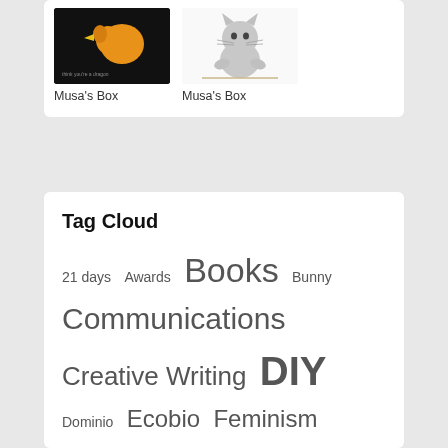[Figure (photo): Dark background image with orange duck/dragon silhouette and text, labeled Musa's Box]
Musa's Box
[Figure (photo): Light background image with illustrated gray cat/mouse character, labeled Musa's Box]
Musa's Box
Tag Cloud
21 days  Awards  Books  Bunny  Communications  Creative Writing  DIY  Dominio  Ecobio  Feminism  Freestyle  Giveaway  Green  Halloween  Holidays  Home  Inspirations  Life  Links  Lists  Monday  Musings  Musa's Box  Music  Mythologically  Nerd  Photo a day  Quarter life crisis  Recipes  Review  Self-Help  Shyness  Sponsor  Sport  Steampunk  Style  Theories  Travels  Vintage  Wise words